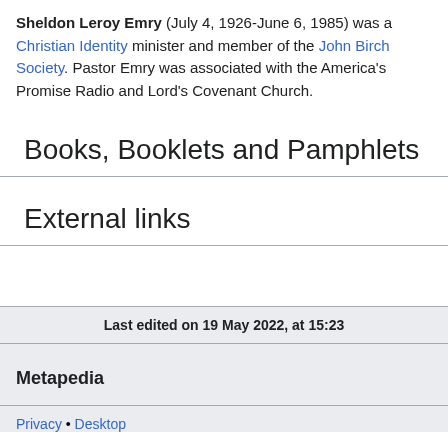Sheldon Leroy Emry (July 4, 1926-June 6, 1985) was a Christian Identity minister and member of the John Birch Society. Pastor Emry was associated with the America's Promise Radio and Lord's Covenant Church.
Books, Booklets and Pamphlets
External links
Last edited on 19 May 2022, at 15:23
Metapedia
Privacy • Desktop